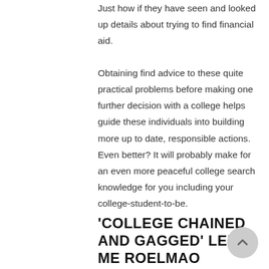Just how if they have seen and looked up details about trying to find financial aid.
Obtaining find advice to these quite practical problems before making one further decision with a college helps guide these individuals into building more up to date, responsible actions. Even better? It will probably make for an even more peaceful college search knowledge for you including your college-student-to-be.
‘COLLEGE CHAINED AND GAGGED’ LEFT ME ROELMAO